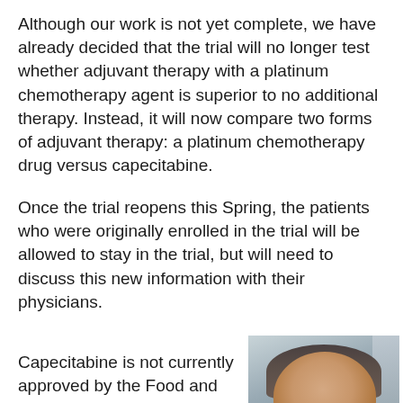Although our work is not yet complete, we have already decided that the trial will no longer test whether adjuvant therapy with a platinum chemotherapy agent is superior to no additional therapy. Instead, it will now compare two forms of adjuvant therapy: a platinum chemotherapy drug versus capecitabine.
Once the trial reopens this Spring, the patients who were originally enrolled in the trial will be allowed to stay in the trial, but will need to discuss this new information with their physicians.
Capecitabine is not currently approved by the Food and Drug Administration for women with residual breast cancer after presurgical chemotherapy. Women currently undergoing
[Figure (photo): Portrait photo of a middle-aged woman with short grey-brown hair, smiling, wearing a dark jacket, with a blurred building background.]